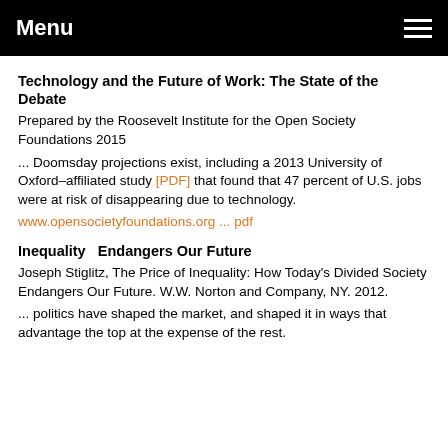Menu
Technology and the Future of Work: The State of the Debate
Prepared by the Roosevelt Institute for the Open Society Foundations 2015
... Doomsday projections exist, including a 2013 University of Oxford–affiliated study [PDF] that found that 47 percent of U.S. jobs were at risk of disappearing due to technology.
www.opensocietyfoundations.org ... pdf
Inequality  Endangers Our Future
Joseph Stiglitz, The Price of Inequality: How Today's Divided Society Endangers Our Future. W.W. Norton and Company, NY. 2012.
... politics have shaped the market, and shaped it in ways that advantage the top at the expense of the rest.